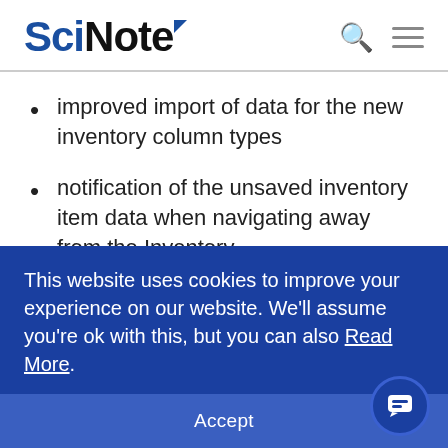SciNote
improved import of data for the new inventory column types
notification of the unsaved inventory item data when navigating away from the Inventory
Bug fixes:
This website uses cookies to improve your experience on our website. We'll assume you're ok with this, but you can also Read More.
Accept